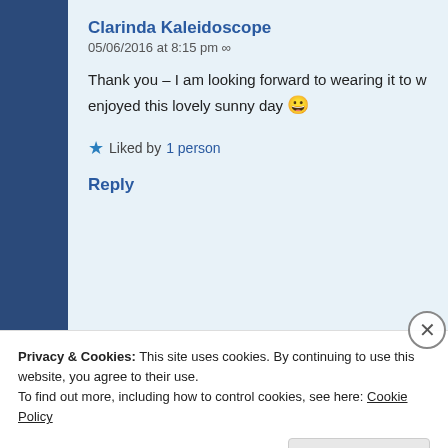Clarinda Kaleidoscope
05/06/2016 at 8:15 pm ∞
Thank you – I am looking forward to wearing it to w… enjoyed this lovely sunny day 😀
★ Liked by 1 person
Reply
wakeymakes
05/06/2016 at 9:24 pm ∞
Privacy & Cookies: This site uses cookies. By continuing to use this website, you agree to their use.
To find out more, including how to control cookies, see here: Cookie Policy
Close and accept